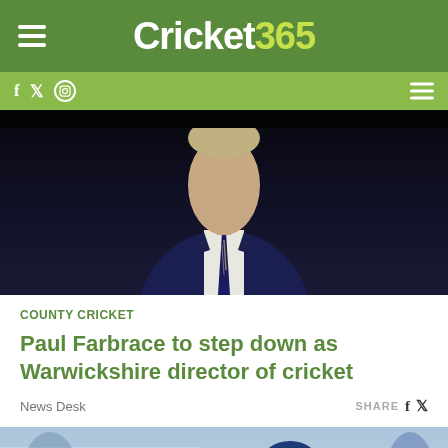Cricket365
[Figure (photo): Man in dark suit and striped tie, upper body, against dark background — Paul Farbrace]
COUNTY CRICKET
Paul Farbrace to step down as Warwickshire director of cricket
News Desk    SHARE
[Figure (photo): Two England cricket batsmen wearing blue helmets and whites, walking on a cricket ground with crowd in background]